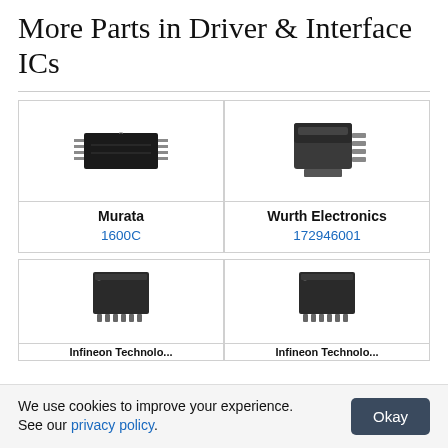More Parts in Driver & Interface ICs
[Figure (photo): DIP IC package - Murata 1600C]
[Figure (photo): TO-263 IC package - Wurth Electronics 172946001]
| Brand | Part |
| --- | --- |
| Murata | 1600C |
| Wurth Electronics | 172946001 |
[Figure (photo): SOIC/TSSOP IC package - Infineon Technologies]
[Figure (photo): SOIC/TSSOP IC package - Infineon Technologies]
We use cookies to improve your experience. See our privacy policy.